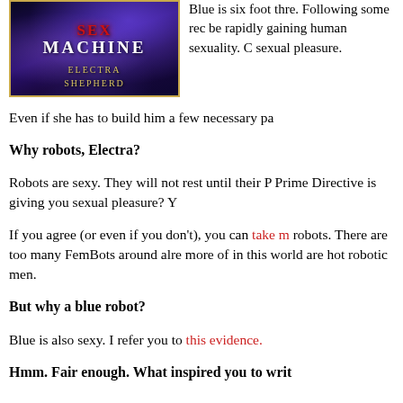[Figure (illustration): Book cover for a novel with dark blue/purple sci-fi background with light beams, red title text at top, white 'MACHINE' text, and author name 'Electra Shepherd' in gold letters]
Blue is six foot thre. Following some rec be rapidly gaining human sexuality. C sexual pleasure.
Even if she has to build him a few necessary pa
Why robots, Electra?
Robots are sexy. They will not rest until their P Prime Directive is giving you sexual pleasure? Y
If you agree (or even if you don't), you can take m robots. There are too many FemBots around alre more of in this world are hot robotic men.
But why a blue robot?
Blue is also sexy. I refer you to this evidence.
Hmm. Fair enough. What inspired you to writ